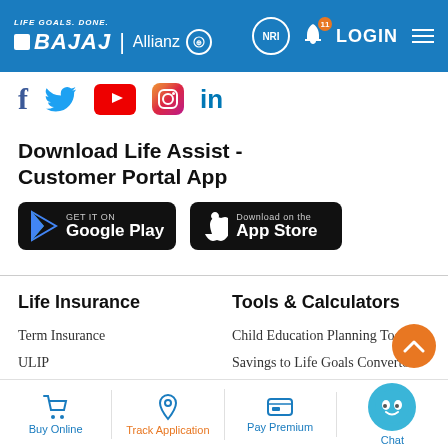LIFE GOALS. DONE. BAJAJ | Allianz | NRI LOGIN
[Figure (logo): Social media icons row: Facebook, Twitter, YouTube, Instagram, LinkedIn]
Download Life Assist - Customer Portal App
[Figure (screenshot): Google Play and Apple App Store download buttons for Life Assist app]
Life Insurance
Term Insurance
ULIP
Saving Plan
Tools & Calculators
Child Education Planning Tool
Savings to Life Goals Convertor
Term Insurance Calculator
Buy Online | Track Application | Pay Premium | Chat